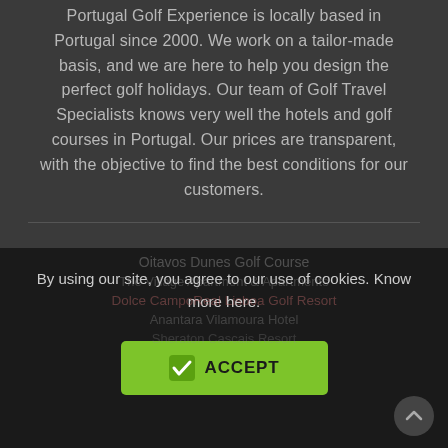Portugal Golf Experience is locally based in Portugal since 2000. We work on a tailor-made basis, and we are here to help you design the perfect golf holidays. Our team of Golf Travel Specialists knows very well the hotels and golf courses in Portugal. Our prices are transparent, with the objective to find the best conditions for our customers.
PORTUGAL HOTELS, HOLIDAYS, GOLF PACKAGES & BREAKS
LISBON REGION
Onyria Quinta da Marinha Hotel
By using our site, you agree to our use of cookies. Know more here.